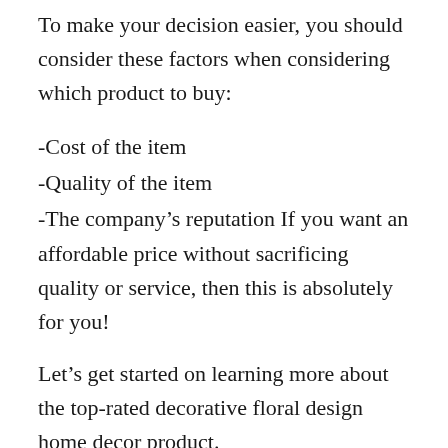To make your decision easier, you should consider these factors when considering which product to buy:
-Cost of the item
-Quality of the item
-The company's reputation If you want an affordable price without sacrificing quality or service, then this is absolutely for you!
Let's get started on learning more about the top-rated decorative floral design home decor product.
It's important for customers to know that they're